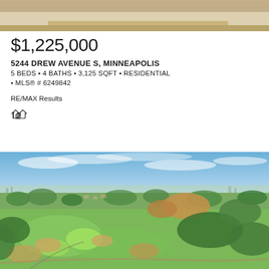[Figure (photo): Top portion of interior room photo showing wooden ceiling/furniture, partially cropped]
$1,225,000
5244 DREW AVENUE S, MINNEAPOLIS
5 BEDS • 4 BATHS • 3,125 SQFT • RESIDENTIAL • MLS® # 6249842
RE/MAX Results
[Figure (photo): Aerial drone photograph of golf course and surrounding suburban landscape near Minneapolis, showing green fairways, wooded areas, residential neighborhoods, and city skyline in the distance under blue sky]